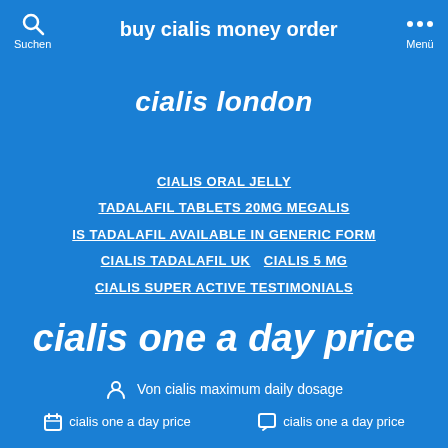buy cialis money order
cialis london
CIALIS ORAL JELLY
TADALAFIL TABLETS 20MG MEGALIS
IS TADALAFIL AVAILABLE IN GENERIC FORM
CIALIS TADALAFIL UK   CIALIS 5 MG
CIALIS SUPER ACTIVE TESTIMONIALS
cialis one a day price
Von cialis maximum daily dosage
cialis one a day price   cialis one a day price